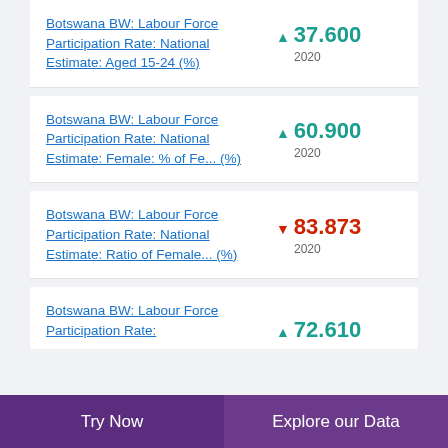Botswana BW: Labour Force Participation Rate: National Estimate: Aged 15-24 (%)
Botswana BW: Labour Force Participation Rate: National Estimate: Female: % of Fe... (%)
Botswana BW: Labour Force Participation Rate: National Estimate: Ratio of Female... (%)
Botswana BW: Labour Force Participation Rate:
Try Now | Explore our Data